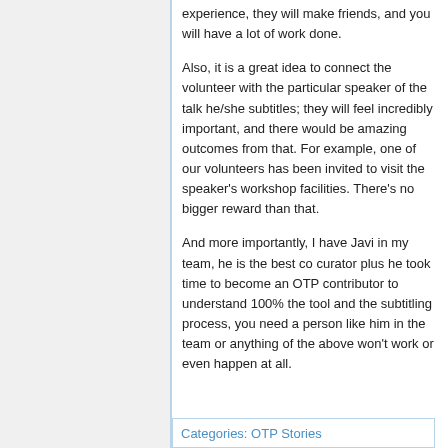experience, they will make friends, and you will have a lot of work done.
Also, it is a great idea to connect the volunteer with the particular speaker of the talk he/she subtitles; they will feel incredibly important, and there would be amazing outcomes from that. For example, one of our volunteers has been invited to visit the speaker's workshop facilities. There's no bigger reward than that.
And more importantly, I have Javi in my team, he is the best co curator plus he took time to become an OTP contributor to understand 100% the tool and the subtitling process, you need a person like him in the team or anything of the above won't work or even happen at all.
Categories: OTP Stories